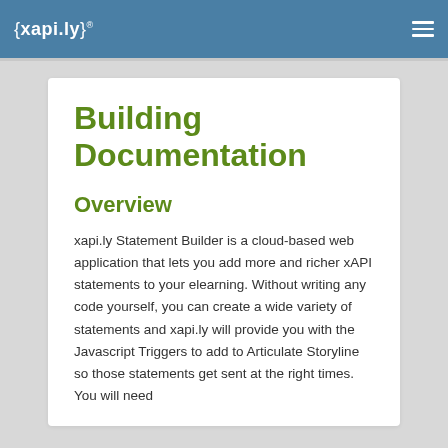{xapi.ly}®
Building Documentation
Overview
xapi.ly Statement Builder is a cloud-based web application that lets you add more and richer xAPI statements to your elearning. Without writing any code yourself, you can create a wide variety of statements and xapi.ly will provide you with the Javascript Triggers to add to Articulate Storyline so those statements get sent at the right times. You will need